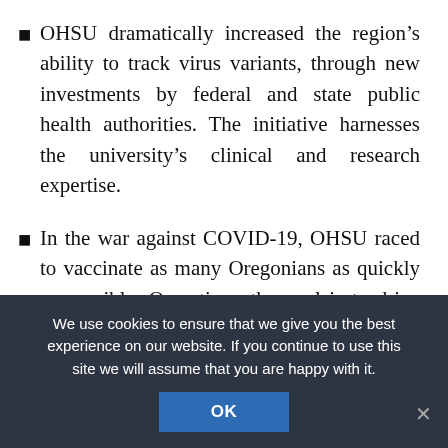OHSU dramatically increased the region's ability to track virus variants, through new investments by federal and state public health authorities. The initiative harnesses the university's clinical and research expertise.
In the war against COVID-19, OHSU raced to vaccinate as many Oregonians as quickly as possible. Over time, the goal is to drive the virus into submission by cutting off its ability to spread.
On Dec. 3, 2020, Gov. Kate Brown appointed Louis
We use cookies to ensure that we give you the best experience on our website. If you continue to use this site we will assume that you are happy with it.